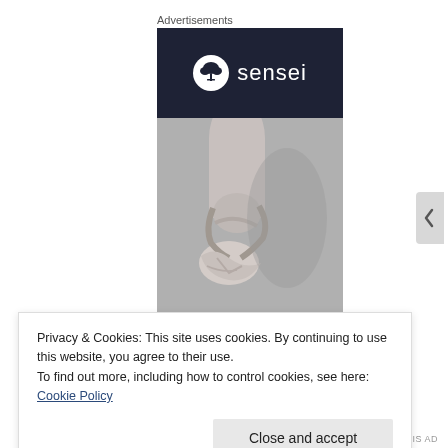Advertisements
[Figure (logo): Sensei brand advertisement with dark navy header showing the Sensei logo (bonsai tree icon in white circle + 'sensei' text in white) above a grayscale photo of a ballet dancer's foot in a pointe shoe]
Privacy & Cookies: This site uses cookies. By continuing to use this website, you agree to their use.
To find out more, including how to control cookies, see here: Cookie Policy
Close and accept